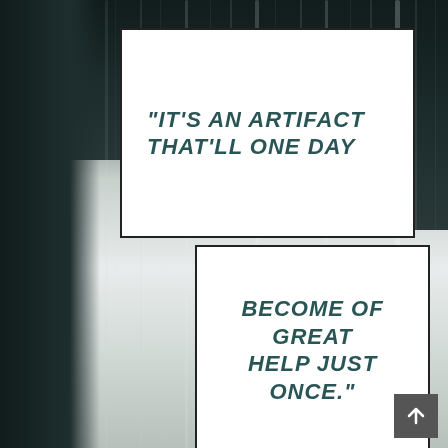[Figure (illustration): Dark background with vertical light streaks/bars, two overlapping white rectangular cards containing a quote in teal uppercase italic bold text, and a navigation arrow button in the bottom right corner.]
"IT'S AN ARTIFACT THAT'LL ONE DAY BECOME OF GREAT HELP JUST ONCE."